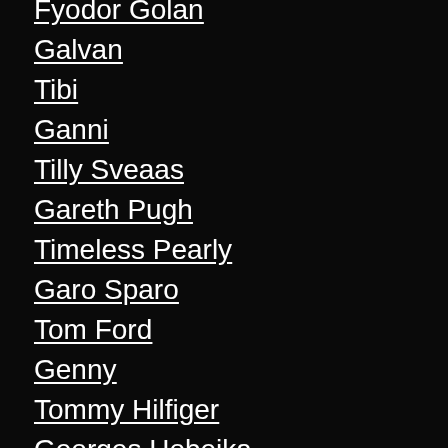Fyodor Golan
Galvan
Tibi
Ganni
Tilly Sveaas
Gareth Pugh
Timeless Pearly
Garo Sparo
Tom Ford
Genny
Tommy Hilfiger
Georges Hobeika
Toni Sailer
Giambattista Valli